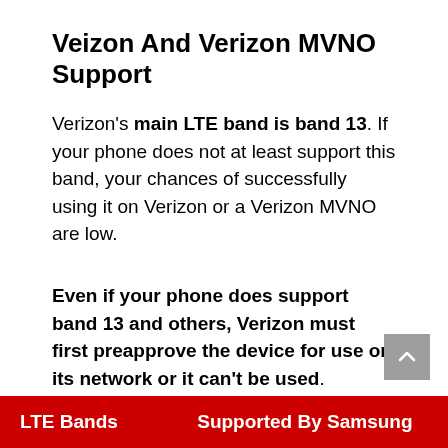Veizon And Verizon MVNO Support
Verizon's main LTE band is band 13. If your phone does not at least support this band, your chances of successfully using it on Verizon or a Verizon MVNO are low.
Even if your phone does support band 13 and others, Verizon must first preapprove the device for use on its network or it can't be used.
| LTE Bands | Supported By Samsung |
| --- | --- |